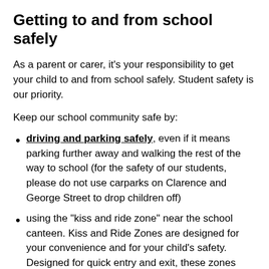Getting to and from school safely
As a parent or carer, it's your responsibility to get your child to and from school safely. Student safety is our priority.
Keep our school community safe by:
driving and parking safely, even if it means parking further away and walking the rest of the way to school (for the safety of our students, please do not use carparks on Clarence and George Street to drop children off)
using the "kiss and ride zone" near the school canteen. Kiss and Ride Zones are designed for your convenience and for your child's safety. Designed for quick entry and exit, these zones minimise congestion and risk when used properly by all parents and carers. These zones operate under the same conditions as no parking zones, which means